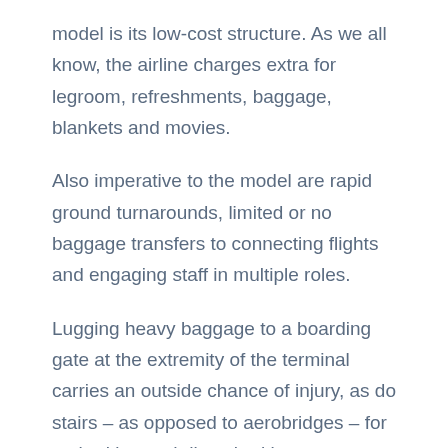model is its low-cost structure. As we all know, the airline charges extra for legroom, refreshments, baggage, blankets and movies.
Also imperative to the model are rapid ground turnarounds, limited or no baggage transfers to connecting flights and engaging staff in multiple roles.
Lugging heavy baggage to a boarding gate at the extremity of the terminal carries an outside chance of injury, as do stairs – as opposed to aerobridges – for embarking and disembarking.
Employees with multiple roles – flight attendants also working as gate agents and for aircraft...